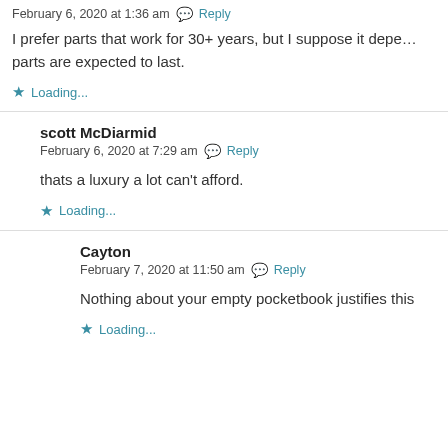February 6, 2020 at 1:36 am  Reply
I prefer parts that work for 30+ years, but I suppose it depends on how long parts are expected to last.
Loading...
scott McDiarmid
February 6, 2020 at 7:29 am  Reply
thats a luxury a lot can't afford.
Loading...
Cayton
February 7, 2020 at 11:50 am  Reply
Nothing about your empty pocketbook justifies this
Loading...